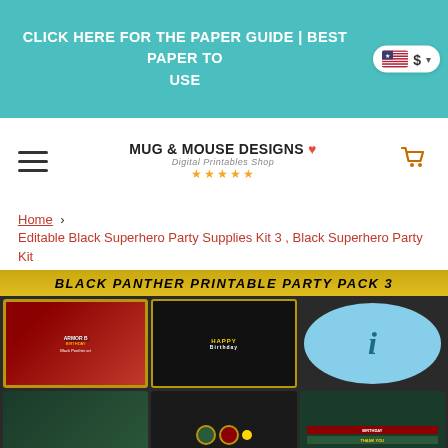CLICK HERE FOR THE PAPER GUIDE | BEST PAPER TO USE
[Figure (screenshot): Mug & Mouse Designs Digital Printables Shop logo with hamburger menu and cart icon]
Home › Editable Black Superhero Party Supplies Kit 3 , Black Superhero Party Kit
[Figure (photo): Black Panther Printable Party Pack 3 product collage showing invitation, banner, figures, cupcake toppers, and labels on dark background with gold title bar]